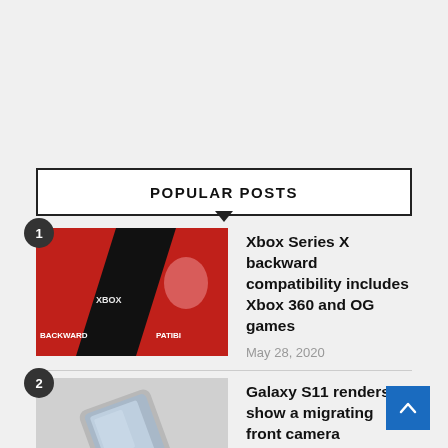POPULAR POSTS
Xbox Series X backward compatibility includes Xbox 360 and OG games — May 28, 2020
Galaxy S11 renders show a migrating front camera — November 22, 2019